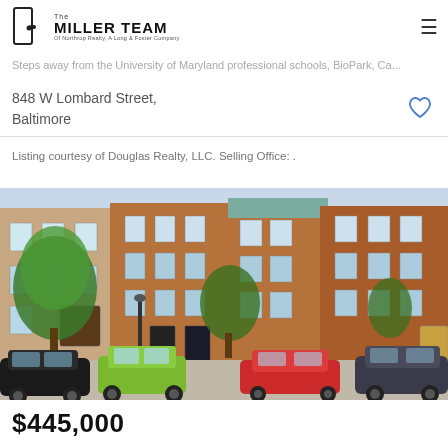The Miller Team of Northrop Realty, A Long & Foster Company
$275,000
3 ... Courtesy of Douglas Realty, LLC
Steps away from the University of Maryland professional schools, BioPark, Ca...
848 W Lombard Street, Baltimore
Listing courtesy of Douglas Realty, LLC. Selling Office: .
[Figure (photo): Exterior photo of a row of red brick townhouses in Baltimore, with green trees in front and several cars parked on the street including a green Jeep, a red sedan, and a dark SUV.]
$445,000